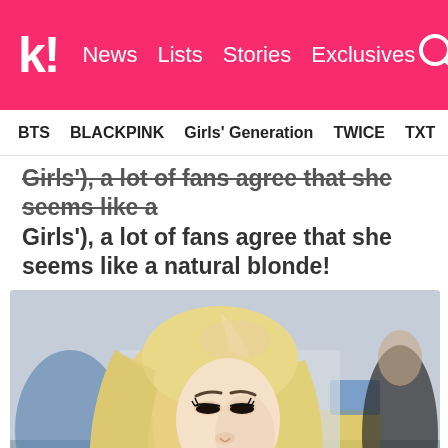k! News   Lists   Stories   Exclusives
BTS   BLACKPINK   Girls' Generation   TWICE   TXT   SEVE
Girls'), a lot of fans agree that she seems like a natural blonde!
[Figure (photo): Young woman with long straight blonde hair, wearing black clothing, photographed at what appears to be an airport. She is looking down slightly, wearing red lipstick, with a blurred background.]